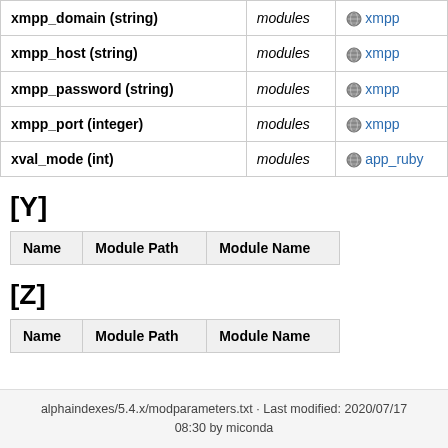| Name | Module Path | Module Name |
| --- | --- | --- |
| xmpp_domain (string) | modules | xmpp |
| xmpp_host (string) | modules | xmpp |
| xmpp_password (string) | modules | xmpp |
| xmpp_port (integer) | modules | xmpp |
| xval_mode (int) | modules | app_ruby |
[Y]
| Name | Module Path | Module Name |
| --- | --- | --- |
[Z]
| Name | Module Path | Module Name |
| --- | --- | --- |
alphaindexes/5.4.x/modparameters.txt · Last modified: 2020/07/17 08:30 by miconda